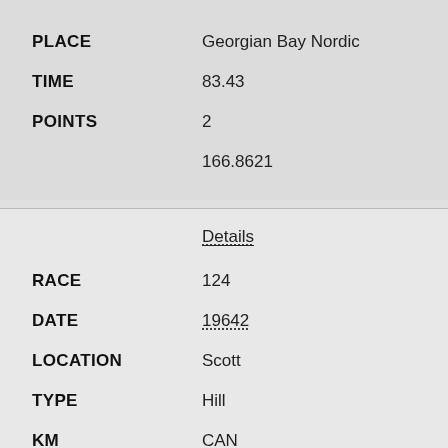PLACE: Georgian Bay Nordic
TIME: 83.43
POINTS: 2
166.8621
Details
RACE: 124
DATE: 19642
LOCATION: Scott
TYPE: Hill
KM: CAN